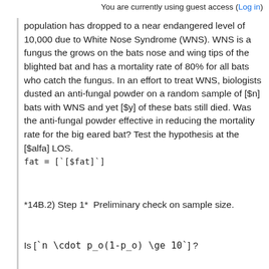You are currently using guest access (Log in)
population has dropped to a near endangered level of 10,000 due to White Nose Syndrome (WNS). WNS is a fungus the grows on the bats nose and wing tips of the blighted bat and has a mortality rate of 80% for all bats who catch the fungus. In an effort to treat WNS, biologists dusted an anti-fungal powder on a random sample of [$n] bats with WNS and yet [$y] of these bats still died. Was the anti-fungal powder effective in reducing the mortality rate for the big eared bat? Test the hypothesis at the [$alfa] LOS.
fat = [`[$fat]`]
*14B.2) Step 1*  Preliminary check on sample size.